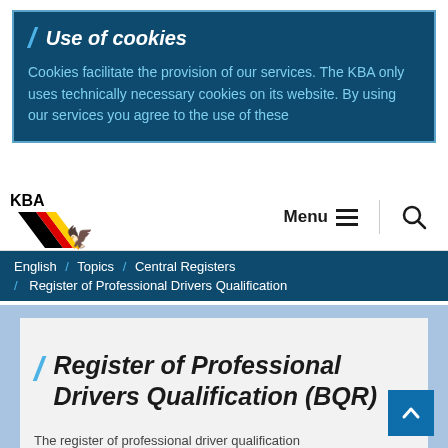Use of cookies
Cookies facilitate the provision of our services. The KBA only uses technically necessary cookies on its website. By using our services you agree to the use of these
[Figure (logo): KBA logo with German flag colors diagonal stripe and eagle emblem]
Menu
English / Topics / Central Registers / Register of Professional Drivers Qualification
Register of Professional Drivers Qualification (BQR)
The register of professional driver qualification